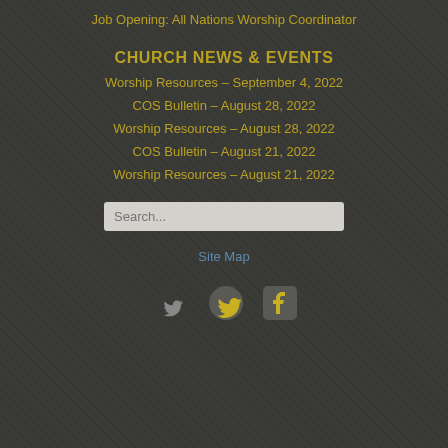Job Opening: All Nations Worship Coordinator
CHURCH NEWS & EVENTS
Worship Resources – September 4, 2022
COS Bulletin – August 28, 2022
Worship Resources – August 28, 2022
COS Bulletin – August 21, 2022
Worship Resources – August 21, 2022
Search...
Site Map
[Figure (illustration): Twitter bird icon and Facebook 'f' icon side by side]